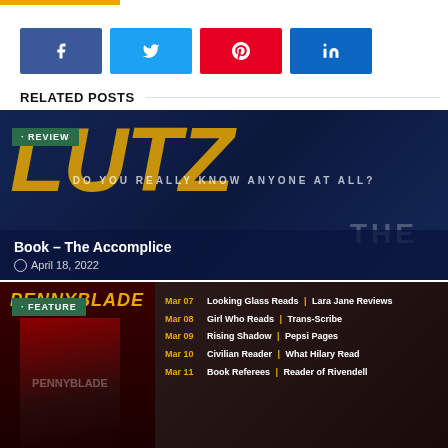[Figure (other): Social media share buttons: Facebook (blue), Twitter (light blue), Pinterest (red), LinkedIn (teal-blue)]
RELATED POSTS
[Figure (photo): Book review card for 'Book – The Accomplice' with dark blue dramatic background, large gold letters, REVIEW badge, dated April 18, 2022]
[Figure (photo): Feature card for Pennyblade by J.L. Worrad showing book cover and blog tour schedule with dates Mar 07-11]